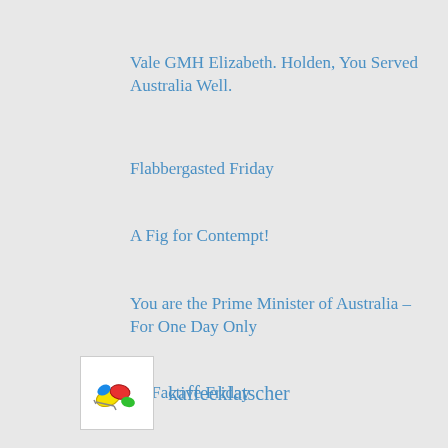Vale GMH Elizabeth. Holden, You Served Australia Well.
Flabbergasted Friday
A Fig for Contempt!
You are the Prime Minister of Australia – For One Day Only
alt Factive Friday
Friday 24th March: Tony Burke's #5and5
kaffeeklatscher